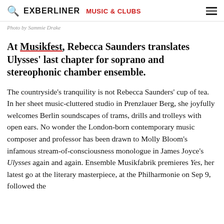EXBERLINER  MUSIC & CLUBS
Photo by Sammie Drake
At Musikfest, Rebecca Saunders translates Ulysses' last chapter for soprano and stereophonic chamber ensemble.
The countryside's tranquility is not Rebecca Saunders' cup of tea. In her sheet music-cluttered studio in Prenzlauer Berg, she joyfully welcomes Berlin soundscapes of trams, drills and trolleys with open ears. No wonder the London-born contemporary music composer and professor has been drawn to Molly Bloom's infamous stream-of-consciousness monologue in James Joyce's Ulysses again and again. Ensemble Musikfabrik premieres Yes, her latest go at the literary masterpiece, at the Philharmonie on Sep 9, followed the